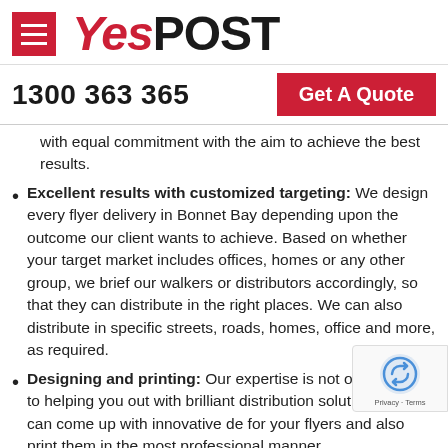[Figure (logo): YesPOST logo with hamburger menu icon on the left and the text 'Yes' in red italic and 'POST' in black bold]
1300 363 365   Get A Quote
with equal commitment with the aim to achieve the best results.
Excellent results with customized targeting: We design every flyer delivery in Bonnet Bay depending upon the outcome our client wants to achieve. Based on whether your target market includes offices, homes or any other group, we brief our walkers or distributors accordingly, so that they can distribute in the right places. We can also distribute in specific streets, roads, homes, office and more, as required.
Designing and printing: Our expertise is not only limited to helping you out with brilliant distribution solutions. We can come up with innovative de for your flyers and also print them in the most professional manner.